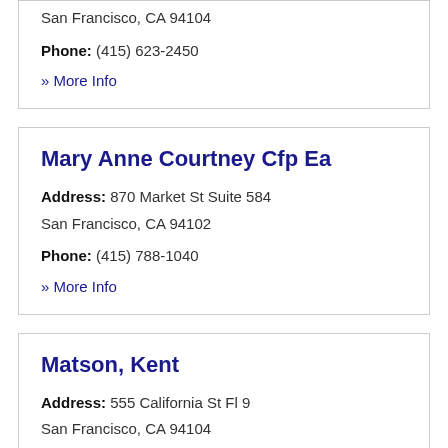San Francisco, CA 94104
Phone: (415) 623-2450
» More Info
Mary Anne Courtney Cfp Ea
Address: 870 Market St Suite 584
San Francisco, CA 94102
Phone: (415) 788-1040
» More Info
Matson, Kent
Address: 555 California St Fl 9
San Francisco, CA 94104
Phone: (415) 676-3596